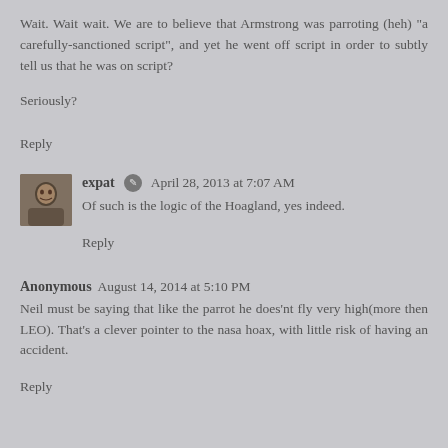Wait. Wait wait. We are to believe that Armstrong was parroting (heh) "a carefully-sanctioned script", and yet he went off script in order to subtly tell us that he was on script?
Seriously?
Reply
expat  April 28, 2013 at 7:07 AM
Of such is the logic of the Hoagland, yes indeed.
Reply
Anonymous August 14, 2014 at 5:10 PM
Neil must be saying that like the parrot he does'nt fly very high(more then LEO). That's a clever pointer to the nasa hoax, with little risk of having an accident.
Reply